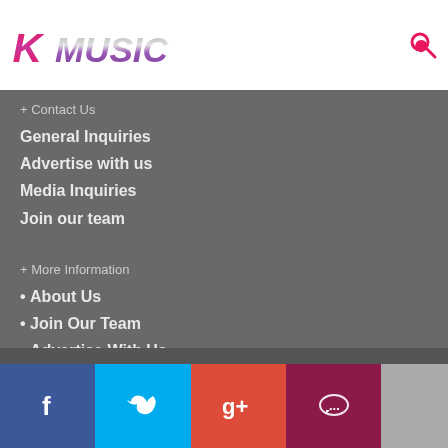KMUSIC logo and search icon
+ Contact Us
General Inquiries
Advertise with us
Media Inquiries
Join our team
+ More Information
• About Us
• Join Our Team
• Advertise With Us
• Contact Us
• Disclaimer
• Terms of Service
Social share bar: Facebook, Twitter, Google+, Comments